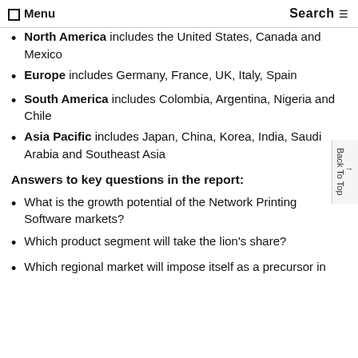☰ Menu    Search
North America includes the United States, Canada and Mexico
Europe includes Germany, France, UK, Italy, Spain
South America includes Colombia, Argentina, Nigeria and Chile
Asia Pacific includes Japan, China, Korea, India, Saudi Arabia and Southeast Asia
Answers to key questions in the report:
What is the growth potential of the Network Printing Software markets?
Which product segment will take the lion's share?
Which regional market will impose itself as a precursor in